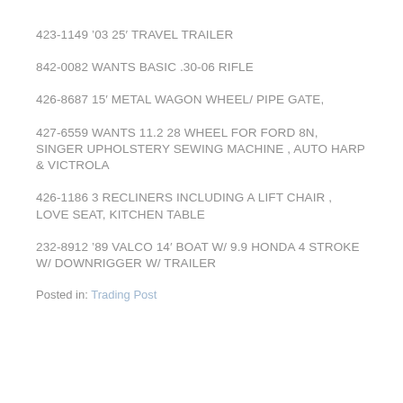423-1149 '03 25′ TRAVEL TRAILER
842-0082 WANTS BASIC .30-06 RIFLE
426-8687 15′ METAL WAGON WHEEL/ PIPE GATE,
427-6559 WANTS 11.2 28 WHEEL FOR FORD 8N, SINGER UPHOLSTERY SEWING MACHINE , AUTO HARP & VICTROLA
426-1186 3 RECLINERS INCLUDING A LIFT CHAIR , LOVE SEAT, KITCHEN TABLE
232-8912 '89 VALCO 14′ BOAT W/ 9.9 HONDA 4 STROKE W/ DOWNRIGGER W/ TRAILER
Posted in: Trading Post